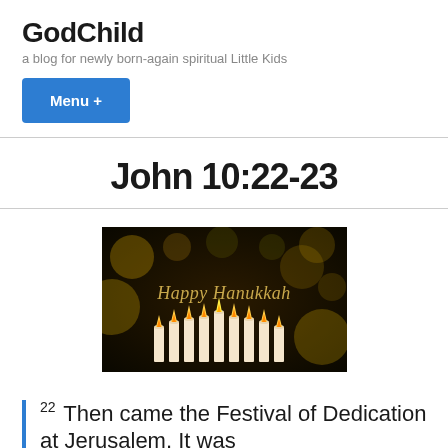GodChild
a blog for newly born-again spiritual Little Kids
Menu +
John 10:22-23
[Figure (photo): Happy Hanukkah greeting image with lit candles on a dark bokeh background with golden text reading 'Happy Hanukkah']
22 Then came the Festival of Dedication at Jerusalem. It was